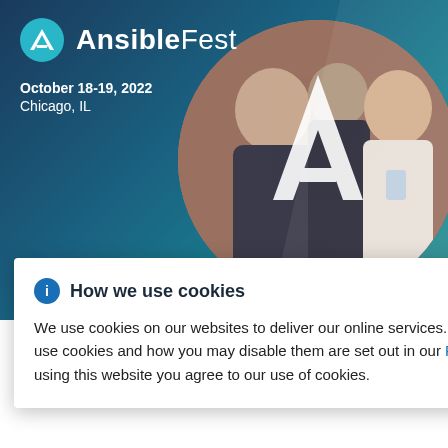[Figure (screenshot): AnsibleFest 2022 website screenshot showing the event banner with logo, event details, circular photo of conference attendees with Ansible A watermark, and a cookie consent dialog.]
AnsibleFest
October 18-19, 2022
Chicago, IL
How we use cookies
We use cookies on our websites to deliver our online services. Details about how we use cookies and how you may disable them are set out in our Privacy Statement. By using this website you agree to our use of cookies.